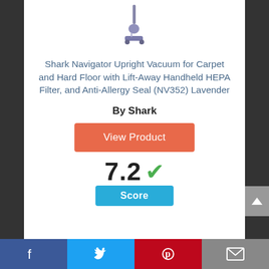[Figure (photo): Product image of Shark Navigator Upright Vacuum, lavender color, shown at top of card]
Shark Navigator Upright Vacuum for Carpet and Hard Floor with Lift-Away Handheld HEPA Filter, and Anti-Allergy Seal (NV352) Lavender
By Shark
View Product
7.2
Score
[Figure (infographic): Social sharing bar with Facebook, Twitter, Pinterest, and email icons]